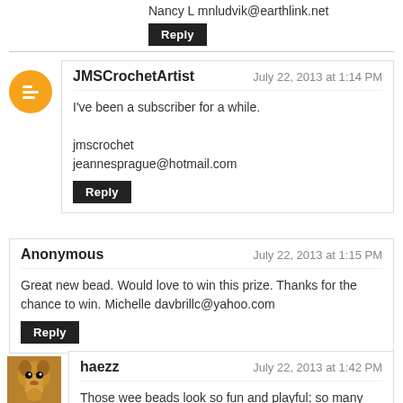Nancy L mnludvik@earthlink.net
Reply
JMSCrochetArtist — July 22, 2013 at 1:14 PM
I've been a subscriber for a while.

jmscrochet
jeannesprague@hotmail.com
Reply
Anonymous — July 22, 2013 at 1:15 PM
Great new bead. Would love to win this prize. Thanks for the chance to win. Michelle davbrillc@yahoo.com
Reply
haezz — July 22, 2013 at 1:42 PM
Those wee beads look so fun and playful; so many design ideas popped into my head when I saw them.